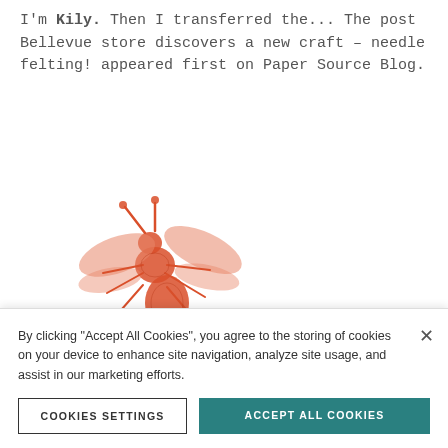I'm Kily. Then I transferred the... The post Bellevue store discovers a new craft – needle felting! appeared first on Paper Source Blog.
[Figure (illustration): Red/orange illustrated bee stamp graphic on white background]
Peek in our windows!
paper
By clicking "Accept All Cookies", you agree to the storing of cookies on your device to enhance site navigation, analyze site usage, and assist in our marketing efforts.
COOKIES SETTINGS
ACCEPT ALL COOKIES